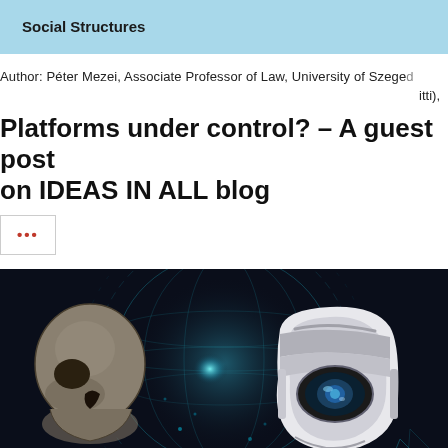Social Structures
Author: Péter Mezei, Associate Professor of Law, University of Szeged (itti),
Platforms under control? – A guest post on IDEAS IN ALL blog
[Figure (illustration): Digital illustration showing a human skull on the left facing a futuristic white robot head on the right, set against a dark background with glowing blue digital network globe and circular HUD elements.]